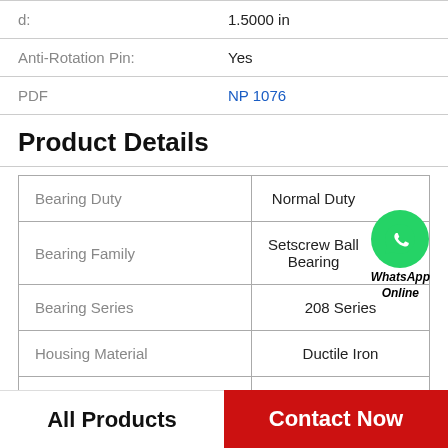| Property | Value |
| --- | --- |
| d: | 1.5000 in |
| Anti-Rotation Pin: | Yes |
| PDF | NP 1076 |
Product Details
| Property | Value |
| --- | --- |
| Bearing Duty | Normal Duty |
| Bearing Family | Setscrew Ball Bearing |
| Bearing Series | 208 Series |
| Housing Material | Ductile Iron |
| Housing Type | Screw Conveyor Hanger Bearing |
[Figure (logo): WhatsApp Online green circle logo with phone icon and text 'WhatsApp Online']
All Products    Contact Now